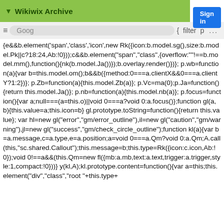▼ Wikiwix Archive
Sign in
≡ Goog { filter p ... Sign in
{e&&b.element('span','class','icon',new Rk({icon:b.model.sg(),size:b.model.Pk||c?18:24,Ab:!0}));c&&b.element("span","class",{overflow:""!==b.model.mm(),function(){nk(b.model.Ja())});b.overlay.render()})}; p.wb=function(a){var b=this.model.om();b&&b({method:0===a.clientX&&0===a.clientY?1:2})}; p.Zb=function(a){this.model.Zb(a)}; p.Vc=ma(0);p.Ja=function(){return this.model.Ja()}; p.nb=function(a){this.model.nb(a)}; p.focus=function(){var a;null===(a=this.o)||void 0===a?void 0:a.focus()};function gl(a,b){this.value=a;this.icon=b} gl.prototype.toString=function(){return this.value}; var hl=new gl("error","gm/error_outline"),il=new gl("caution","gm/warning"),jl=new gl("success","gm/check_circle_outline");function kl(a){var b=a.message,c=a.type,e=a.position;a=void 0===a.Qm?void 0:a.Qm;A.call(this,"sc.shared.Callout");this.message=b;this.type=Rk({icon:c.icon,Ab:!0});void 0!==a&&(this.Qm=new fl({mb:a.mb,text:a.text,trigger:a.trigger,style:1,compact:!0}))} y(kl,A);kl.prototype.content=function(){var a=this;this.element("div","class","root "+this.type+"